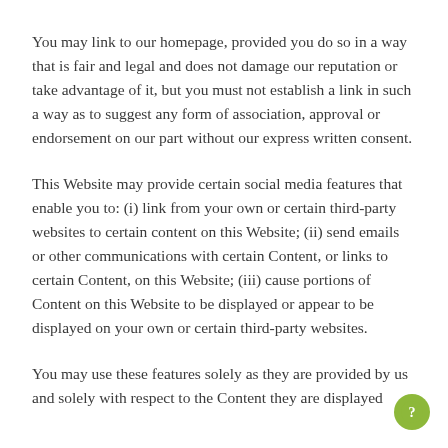You may link to our homepage, provided you do so in a way that is fair and legal and does not damage our reputation or take advantage of it, but you must not establish a link in such a way as to suggest any form of association, approval or endorsement on our part without our express written consent.
This Website may provide certain social media features that enable you to: (i) link from your own or certain third-party websites to certain content on this Website; (ii) send emails or other communications with certain Content, or links to certain Content, on this Website; (iii) cause portions of Content on this Website to be displayed or appear to be displayed on your own or certain third-party websites.
You may use these features solely as they are provided by us and solely with respect to the Content they are displayed